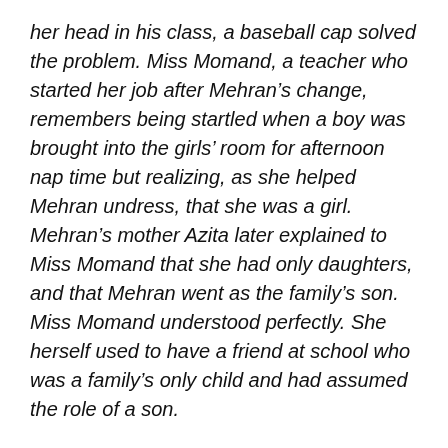her head in his class, a baseball cap solved the problem. Miss Momand, a teacher who started her job after Mehran's change, remembers being startled when a boy was brought into the girls' room for afternoon nap time but realizing, as she helped Mehran undress, that she was a girl. Mehran's mother Azita later explained to Miss Momand that she had only daughters, and that Mehran went as the family's son. Miss Momand understood perfectly. She herself used to have a friend at school who was a family's only child and had assumed the role of a son.
Officially, girls like Mehran do not exist in Afghanistan, where the system of gender segregation is among the strictest in the world. But many other Afghans, too, can recall a former neighbor, a relative, a colleague, or someone in their extended family circle who had to...